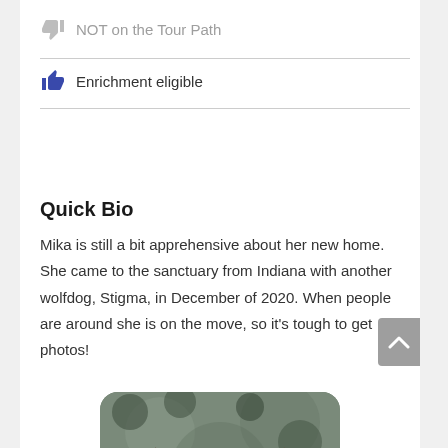NOT on the Tour Path
Enrichment eligible
Quick Bio
Mika is still a bit apprehensive about her new home. She came to the sanctuary from Indiana with another wolfdog, Stigma, in December of 2020. When people are around she is on the move, so it's tough to get photos!
[Figure (photo): Close-up photo of a wolfdog (Mika), showing the top of her head with ears visible, brown/grey fur, with a blurred bokeh background.]